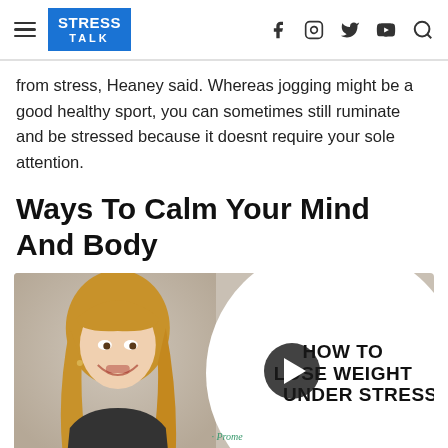STRESS TALK
from stress, Heaney said. Whereas jogging might be a good healthy sport, you can sometimes still ruminate and be stressed because it doesnt require your sole attention.
Ways To Calm Your Mind And Body
[Figure (screenshot): Video thumbnail showing a smiling blonde woman on the left half, and a white circle overlay on the right with bold uppercase text 'HOW TO LOSE WEIGHT UNDER STRESS' and a play button in the center.]